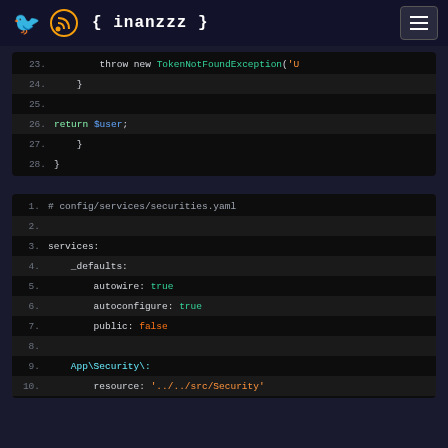{ inanzzz }
[Figure (screenshot): Code block showing PHP lines 23-28 with throw new TokenNotFoundException and return $user]
[Figure (screenshot): Code block showing YAML config/services/securities.yaml lines 1-10 with services, _defaults, autowire, autoconfigure, public, App\Security\:, resource]